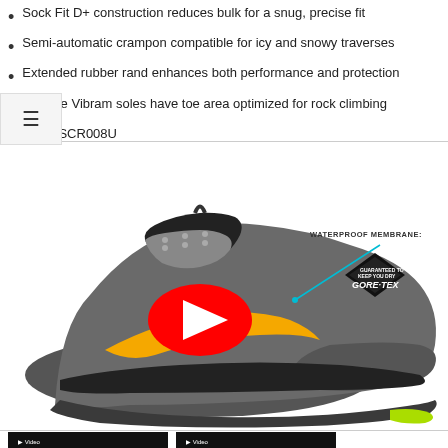Sock Fit D+ construction reduces bulk for a snug, precise fit
Semi-automatic crampon compatible for icy and snowy traverses
Extended rubber rand enhances both performance and protection
Durable Vibram soles have toe area optimized for rock climbing
Item #SCR008U
[Figure (photo): Scarpa hiking boot in gray with orange accent stripe and GORE-TEX waterproof membrane label. YouTube play button overlay in center. Boot shown from side angle on white background. SCARPA brand text visible on shoe.]
[Figure (photo): Two thumbnail images at bottom: left shows black hiking boot with Gore-Tex badge overlay text, right shows orange/gray boot from different angle.]